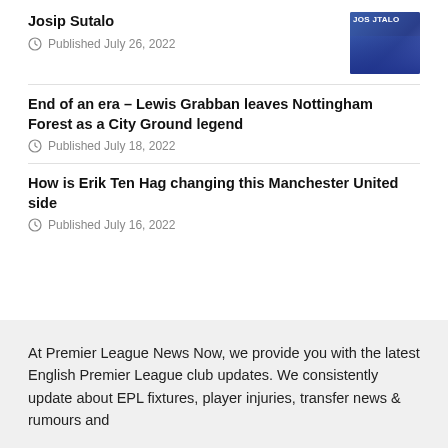Josip Sutalo
Published July 26, 2022
End of an era – Lewis Grabban leaves Nottingham Forest as a City Ground legend
Published July 18, 2022
How is Erik Ten Hag changing this Manchester United side
Published July 16, 2022
At Premier League News Now, we provide you with the latest English Premier League club updates. We consistently update about EPL fixtures, player injuries, transfer news & rumours and